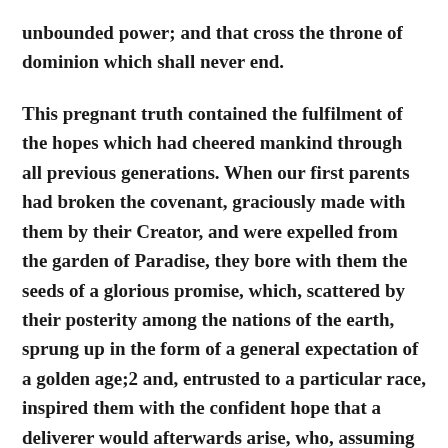unbounded power; and that cross the throne of dominion which shall never end.

This pregnant truth contained the fulfilment of the hopes which had cheered mankind through all previous generations. When our first parents had broken the covenant, graciously made with them by their Creator, and were expelled from the garden of Paradise, they bore with them the seeds of a glorious promise, which, scattered by their posterity among the nations of the earth, sprung up in the form of a general expectation of a golden age;2 and, entrusted to a particular race, inspired them with the confident hope that a deliverer would afterwards arise, who, assuming the position and responsibilities of the second Adam, would arrest the dominion of sin and death, and